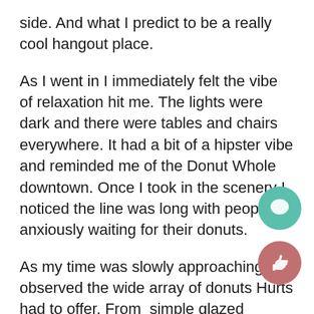side. And what I predict to be a really cool hangout place.
As I went in I immediately felt the vibe of relaxation hit me. The lights were dark and there were tables and chairs everywhere. It had a bit of a hipster vibe and reminded me of the Donut Whole downtown. Once I took in the scenery I noticed the line was long with people anxiously waiting for their donuts.
As my time was slowly approaching, I observed the wide array of donuts Hurts had to offer. From  simple glazed donuts to more complicated ones like Andes Mint donuts and more. And the best part is they are really inexpensive, the glazed ones are $1 a piece and the more complicated ones are $3 at the most.
When my time came I got the Cookies and Cream one and it was truly amazing, who knew that Cookies and